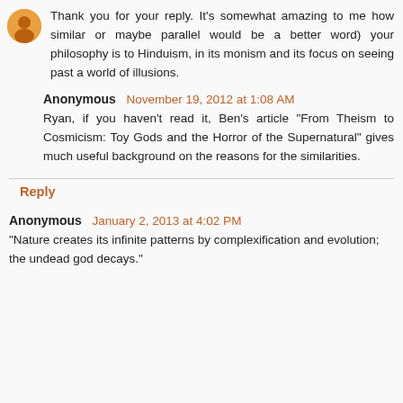Thank you for your reply. It's somewhat amazing to me how similar or maybe parallel would be a better word) your philosophy is to Hinduism, in its monism and its focus on seeing past a world of illusions.
Anonymous November 19, 2012 at 1:08 AM
Ryan, if you haven't read it, Ben's article "From Theism to Cosmicism: Toy Gods and the Horror of the Supernatural" gives much useful background on the reasons for the similarities.
Reply
Anonymous January 2, 2013 at 4:02 PM
"Nature creates its infinite patterns by complexification and evolution; the undead god decays."